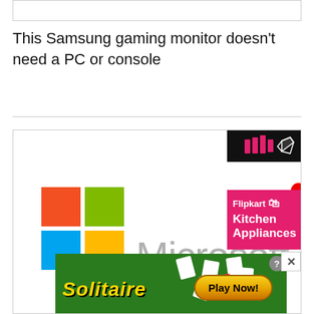[Figure (screenshot): Top empty white box with border]
This Samsung gaming monitor doesn't need a PC or console
[Figure (screenshot): Advertisement area containing Microsoft logo, Solitaire game ad banner, and Flipkart Kitchen Appliances popup ad]